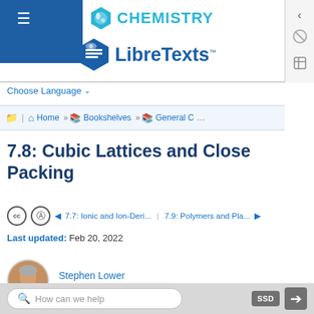Chemistry LibreTexts
Choose Language
Home » Bookshelves » General C ...
7.8: Cubic Lattices and Close Packing
◄ 7.7: Ionic and Ion-Deri... | 7.9: Polymers and Pla... ►
Last updated: Feb 20, 2022
Stephen Lower
Simon Fraser University
How can we help    SSD  [login]